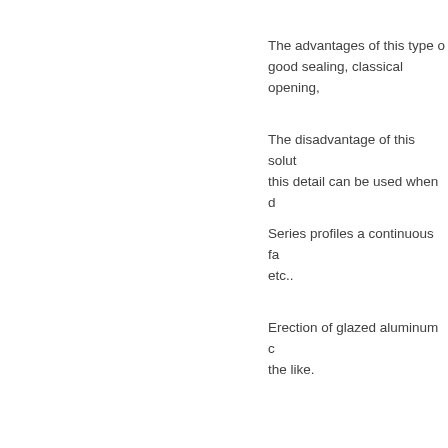The advantages of this type o... good sealing, classical opening,
The disadvantage of this solut... this detail can be used when d
Series profiles a continuous fa... etc..
Erection of glazed aluminum c... the like.